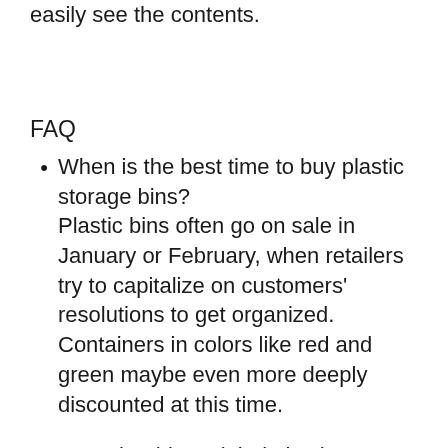easily see the contents.
FAQ
When is the best time to buy plastic storage bins?
Plastic bins often go on sale in January or February, when retailers try to capitalize on customers' resolutions to get organized. Containers in colors like red and green maybe even more deeply discounted at this time.
How should you label plastic storage bins?
There are almost as many labeling options as there are plastic containers